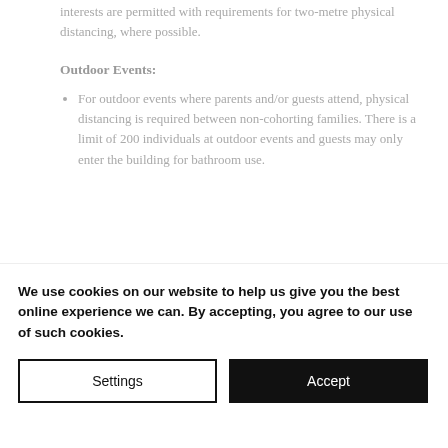interests are permitted with requirements for two-metre physical distancing, where possible.
Outdoor Events:
For outdoor events where parents and/or guests attend, physical distancing is required between non-cohorting families. There is a limit of 200 individuals at outdoor events and guests may only enter the building for bathroom use.
*Please continue to be mindful of the health
We use cookies on our website to help us give you the best online experience we can. By accepting, you agree to our use of such cookies.